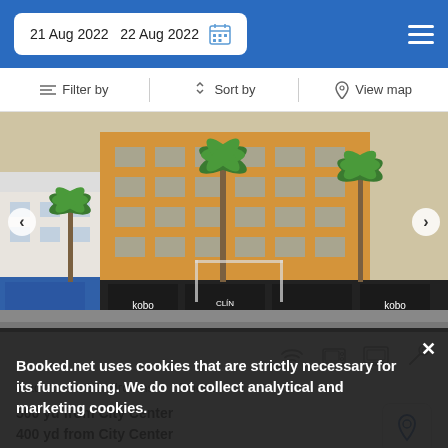21 Aug 2022  22 Aug 2022
Filter by  |  Sort by  |  View map
[Figure (photo): Street-level photo of a multi-storey apartment building with palm trees in front, shops at ground level including Kobo and Clínica Veterinaria signs]
4 adults · 2 bedrooms · 2 beds
500 yd from City Center
400 yd from City Center
Placed 9 miles from Playa Barca, the property consists of 2 bedrooms, 1 bathrooms and a fully furnished kitchen.
Booked.net uses cookies that are strictly necessary for its functioning. We do not collect analytical and marketing cookies.